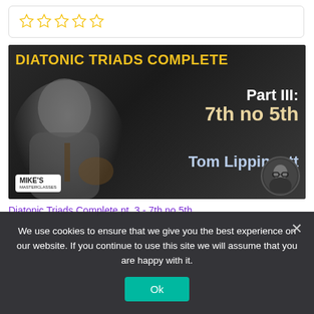[Figure (other): Star rating widget showing 5 empty/outline gold stars]
[Figure (photo): Video thumbnail for 'Diatonic Triads Complete Part III: 7th no 5th' by Tom Lippincott on Mike's Masterclasses. Shows a man playing guitar against dark background with yellow title text, white and cream subtitle text, and a small circular avatar in bottom right.]
Diatonic Triads Complete pt. 3 - 7th no 5th
We use cookies to ensure that we give you the best experience on our website. If you continue to use this site we will assume that you are happy with it.
Ok